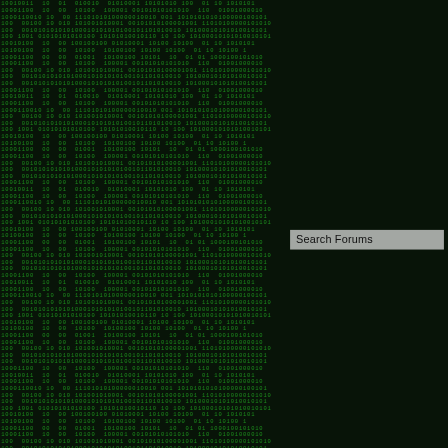[Figure (screenshot): Dark green matrix-style binary code background (0s and 1s) on dark background, covering entire page]
Search Forums
etp://healthytalkz.com/ig_files/
New Topic   Reply
PosttheLink - Posted Dec 14th 2018
Quote